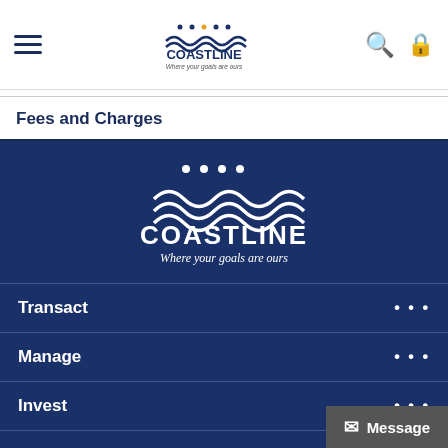Coastline Credit Union — Where your goals are ours
Fees and Charges
[Figure (logo): Coastline Credit Union logo — white waves and dots on dark blue background with text 'COASTLINE Where your goals are ours']
Transact
Manage
Invest
Loans
Insurance